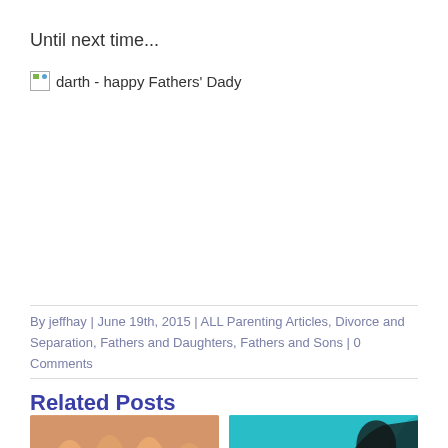Until next time...
[Figure (photo): Broken image placeholder with alt text: darth - happy Fathers' Dady]
By jeffhay | June 19th, 2015 | ALL Parenting Articles, Divorce and Separation, Fathers and Daughters, Fathers and Sons | 0 Comments
Related Posts
[Figure (photo): Photo of finger puppets with drawn-on faces, representing a family]
[Figure (photo): Photo with teal/cyan background showing a partial face/silhouette]